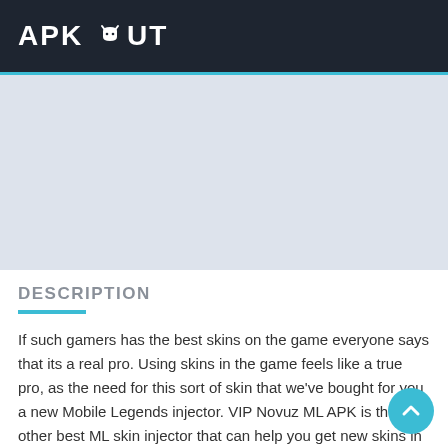APK ABOUT
[Figure (other): Light blue-gray advertisement/banner placeholder area]
DESCRIPTION
If such gamers has the best skins on the game everyone says that its a real pro. Using skins in the game feels like a true pro, as the need for this sort of skin that we've bought for you a new Mobile Legends injector. VIP Novuz ML APK is the other best ML skin injector that can help you get new skins in the game.